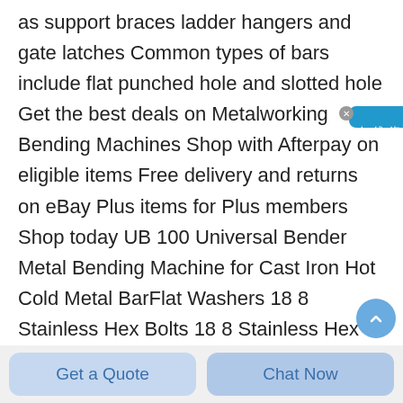as support braces ladder hangers and gate latches Common types of bars include flat punched hole and slotted hole Get the best deals on Metalworking Bending Machines Shop with Afterpay on eligible items Free delivery and returns on eBay Plus items for Plus members Shop today UB 100 Universal Bender Metal Bending Machine for Cast Iron Hot Cold Metal BarFlat Washers 18 8 Stainless Hex Bolts 18 8 Stainless Hex Nuts 18 8 Stainless Jam Nuts 18 8 Stainless Lag Screws 18 8 Stainless Machine...
[Figure (other): Chinese live chat widget button on the right side, blue background with white Chinese characters reading 在线咨询 (online consultation), with a small X close button]
[Figure (other): Blue circular scroll/chat button partially visible at bottom right]
Get a Quote
Chat Now